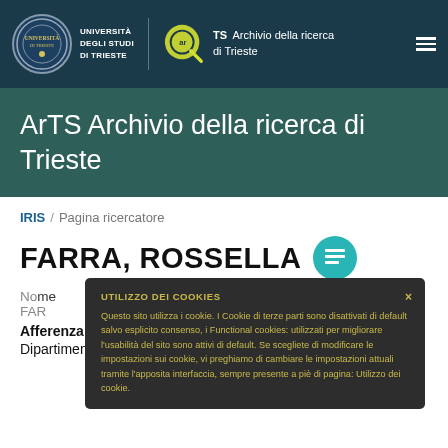UNIVERSITÀ DEGLI STUDI DI TRIESTE | ArTS Archivio della ricerca di Trieste
ArTS Archivio della ricerca di Trieste
IRIS / Pagina ricercatore
FARRA, ROSSELLA
UTILIZZO DEI COOKIES
Questo sito utilizza i cookie. I Cookie di terze parti sono disattivati di default salvo esplicito consenso, i Functional cookies: utilizzati per migliorare l'usabilità del sito sono attivi di default. Se scegliete di modificare le impostazioni sui cookie, vi preghiamo di cambiare le impostazioni attuali tramite l'apposita interfaccia, sempre presente a piè di pagina: Utilizzo dei cookie.
Nome
FARRA
Afferenza
Dipartimento Universitario Clinico di Scienze